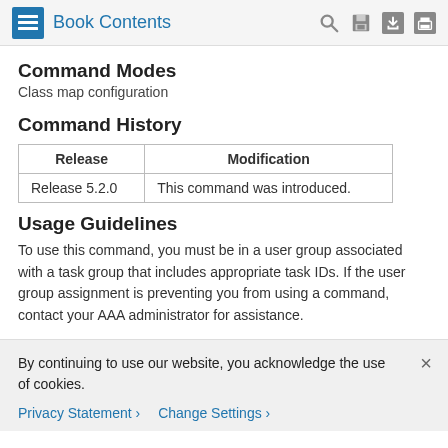Book Contents
Command Modes
Class map configuration
Command History
| Release | Modification |
| --- | --- |
| Release 5.2.0 | This command was introduced. |
Usage Guidelines
To use this command, you must be in a user group associated with a task group that includes appropriate task IDs. If the user group assignment is preventing you from using a command, contact your AAA administrator for assistance.
By continuing to use our website, you acknowledge the use of cookies.
Privacy Statement > Change Settings >